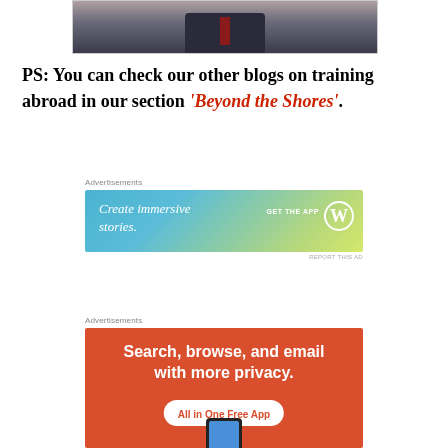[Figure (photo): Cropped photo of a person in a dark suit with a red tie, only lower face and upper torso visible]
PS: You can check our other blogs on training abroad in our section 'Beyond the Shores'.
Advertisements
[Figure (screenshot): WordPress advertisement banner with gradient blue-green background. Text: 'Create immersive stories.' with 'GET THE APP' and WordPress logo on the right.]
REPORT THIS AD
Advertisements
[Figure (screenshot): Orange advertisement banner. Text: 'Search, browse, and email with more privacy.' with button 'All in One Free App' and a phone graphic at the bottom.]